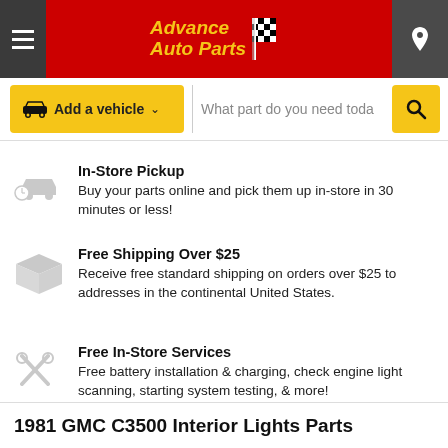Advance Auto Parts
Add a vehicle   What part do you need today?
In-Store Pickup — Buy your parts online and pick them up in-store in 30 minutes or less!
Free Shipping Over $25 — Receive free standard shipping on orders over $25 to addresses in the continental United States.
Free In-Store Services — Free battery installation & charging, check engine light scanning, starting system testing, & more!
1981 GMC C3500 Interior Lights Parts